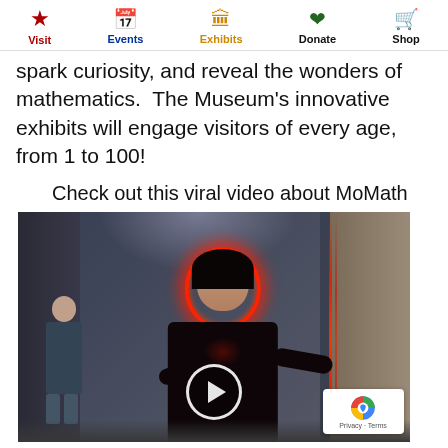Visit | Events | Exhibits | Donate | Shop
spark curiosity, and reveal the wonders of mathematics. The Museum's innovative exhibits will engage visitors of every age, from 1 to 100!
Check out this viral video about MoMath
[Figure (screenshot): Video thumbnail showing a woman with red light halo around her face standing near a metallic panel, with a play button overlay and reCAPTCHA badge in the corner. A man is visible in the background.]